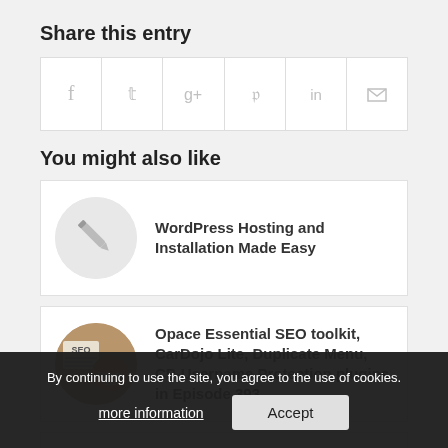Share this entry
[Figure (other): Share icons row: Facebook, Twitter, Google+, Pinterest, LinkedIn, Email]
You might also like
[Figure (other): Card with pencil icon thumbnail: WordPress Hosting and Installation Made Easy]
WordPress Hosting and Installation Made Easy
[Figure (other): Card with SEO thumbnail image: Opace Essential SEO toolkit, CarDojo Lite, Duplicate Menu, CP-Username Protection plugins in Episode 393]
Opace Essential SEO toolkit, CarDojo Lite, Duplicate Menu, CP-Username Protection plugins in Episode 393
[Figure (other): Card with WP thumbnail: WordPress Plugins A to Z Episode 379 Create QuadMenu's, Remove Pointers and some Halloween Fun]
WordPress Plugins A to Z Episode 379 Create QuadMenu's, Remove Pointers and some Halloween Fun
[Figure (other): Card with pencil icon thumbnail: WordPress Plugins from A to Z Podcast]
WordPress Plugins from A to Z Podcast
By continuing to use the site, you agree to the use of cookies.
more information
Accept